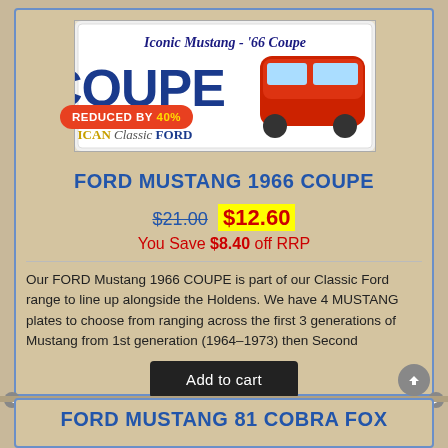[Figure (photo): Ford Mustang 1966 Coupe license plate style product image with red car. Text reads 'Iconic Mustang - 66 Coupe', 'COUPE', 'American Classic FORD']
REDUCED BY 40%
FORD MUSTANG 1966 COUPE
$21.00 $12.60 You Save $8.40 off RRP
Our FORD Mustang 1966 COUPE is part of our Classic Ford range to line up alongside the Holdens. We have 4 MUSTANG plates to choose from ranging across the first 3 generations of Mustang from 1st generation (1964–1973) then Second
Add to cart
FORD MUSTANG 81 COBRA FOX